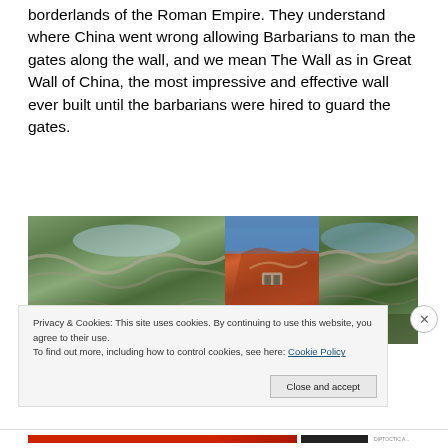borderlands of the Roman Empire. They understand where China went wrong allowing Barbarians to man the gates along the wall, and we mean The Wall as in Great Wall of China, the most impressive and effective wall ever built until the barbarians were hired to guard the gates.
[Figure (photo): Three photos of the Great Wall of China side by side: left shows wall winding through green mountains, middle shows a section with orange/red rocky terrain, right shows wall through green hills.]
Privacy & Cookies: This site uses cookies. By continuing to use this website, you agree to their use.
To find out more, including how to control cookies, see here: Cookie Policy
Close and accept